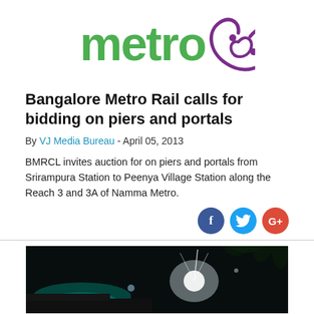[Figure (logo): Namma Metro logo with green 'metro' text and purple stylized fish/swirl icon]
Bangalore Metro Rail calls for bidding on piers and portals
By VJ Media Bureau - April 05, 2013
BMRCL invites auction for on piers and portals from Srirampura Station to Peenya Village Station along the Reach 3 and 3A of Namma Metro.
[Figure (photo): Nighttime photo of metro infrastructure with bright lights against dark background]